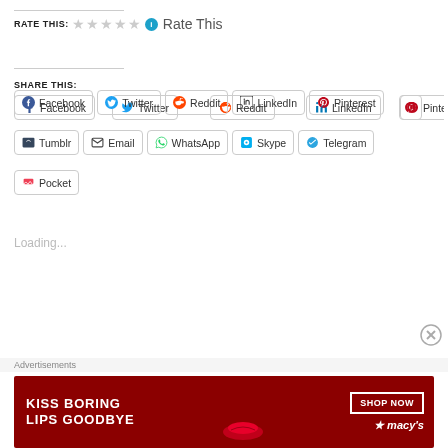RATE THIS: ☆☆☆☆☆ ℹ Rate This
SHARE THIS:
Facebook
Twitter
Reddit
LinkedIn
Pinterest
Tumblr
Email
WhatsApp
Skype
Telegram
Pocket
Loading...
Advertisements
[Figure (photo): Macy's advertisement banner: KISS BORING LIPS GOODBYE with SHOP NOW button and Macy's logo, featuring a woman's face with red lips]